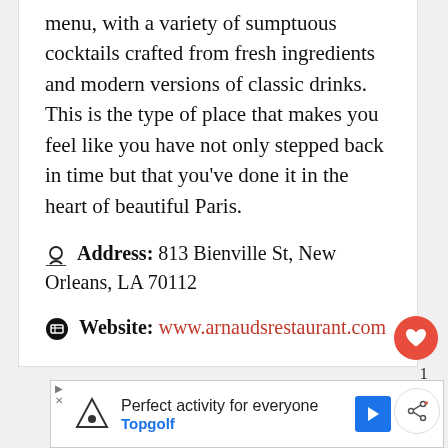menu, with a variety of sumptuous cocktails crafted from fresh ingredients and modern versions of classic drinks. This is the type of place that makes you feel like you have not only stepped back in time but that you've done it in the heart of beautiful Paris.
Address: 813 Bienville St, New Orleans, LA 70112
Website: www.arnaudsrestaurant.com
[Figure (other): Heart favorite button with count 1 and share button]
[Figure (other): What's Next panel with thumbnail image and text: Top 10 Most Popular...]
[Figure (other): Advertisement banner: Perfect activity for everyone - Topgolf]